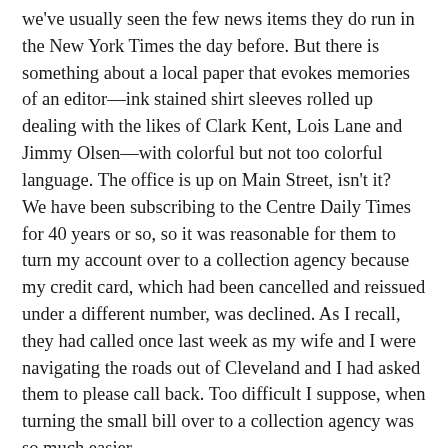we've usually seen the few news items they do run in the New York Times the day before. But there is something about a local paper that evokes memories of an editor—ink stained shirt sleeves rolled up dealing with the likes of Clark Kent, Lois Lane and Jimmy Olsen—with colorful but not too colorful language. The office is up on Main Street, isn't it?
We have been subscribing to the Centre Daily Times for 40 years or so, so it was reasonable for them to turn my account over to a collection agency because my credit card, which had been cancelled and reissued under a different number, was declined. As I recall, they had called once last week as my wife and I were navigating the roads out of Cleveland and I had asked them to please call back. Too difficult I suppose, when turning the small bill over to a collection agency was so much easier.